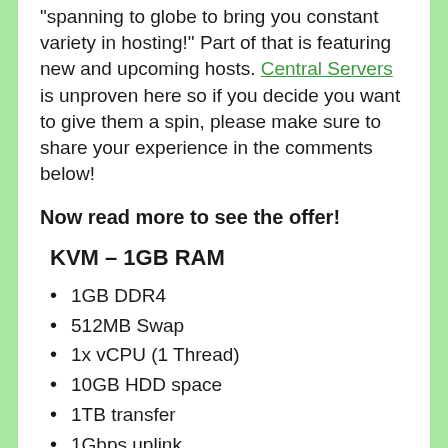spanning to globe to bring you constant variety in hosting!" Part of that is featuring new and upcoming hosts. Central Servers is unproven here so if you decide you want to give them a spin, please make sure to share your experience in the comments below!
Now read more to see the offer!
KVM – 1GB RAM
1GB DDR4
512MB Swap
1x vCPU (1 Thread)
10GB HDD space
1TB transfer
1Gbps uplink
1x IPv4
KVM